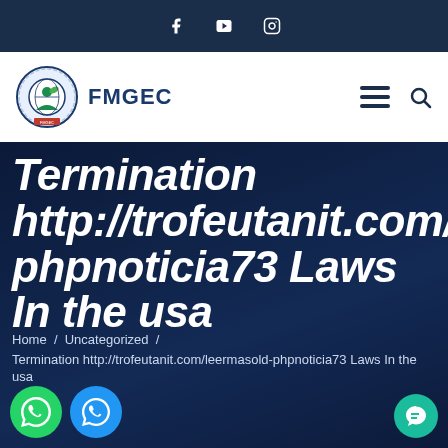Social media icons: Facebook, YouTube, Instagram
FMGEC — navigation bar with hamburger menu and search icon
Termination http://trofeutanit.com/leermasold-phpnoticia73 Laws In the usa
Home / Uncategorized / Termination http://trofeutanit.com/leermasold-phpnoticia73 Laws In the usa